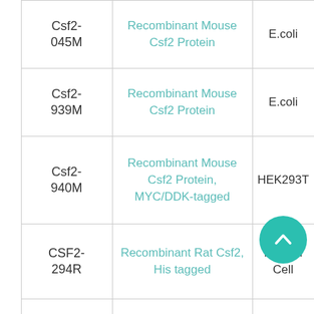|  | Code | Name | Source |
| --- | --- | --- | --- |
|  | Csf2-045M | Recombinant Mouse Csf2 Protein | E.coli |
|  | Csf2-939M | Recombinant Mouse Csf2 Protein | E.coli |
|  | Csf2-940M | Recombinant Mouse Csf2 Protein, MYC/DDK-tagged | HEK293T |
|  | CSF2-294R | Recombinant Rat Csf2, His tagged | Human Cell |
|  | Csf2-553R | Recombinant Rat Csf2, Fc-tagged | Human Cell |
|  | Csf2-786R | Recombinant Rat Csf2 protein, His & | E.coli |